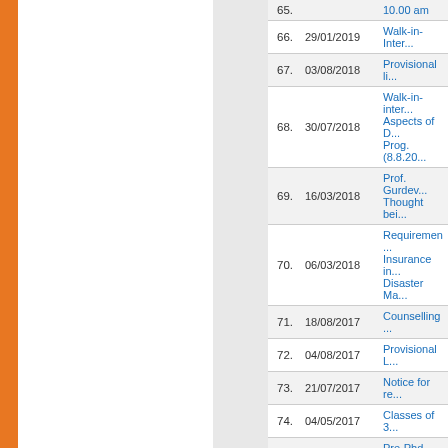| No. | Date | Title |
| --- | --- | --- |
| 65. |  | 10.00 am |
| 66. | 29/01/2019 | Walk-in-Inter... |
| 67. | 03/08/2018 | Provisional li... |
| 68. | 30/07/2018 | Walk-in-inter... Aspects of D... Prog. (8.8.20... |
| 69. | 16/03/2018 | Prof. Gurdev... Thought bei... |
| 70. | 06/03/2018 | Requiremen... Insurance in... Disaster Ma... |
| 71. | 18/08/2017 | Counselling ... |
| 72. | 04/08/2017 | Provisional L... |
| 73. | 21/07/2017 | Notice for re... |
| 74. | 04/05/2017 | Classes of 3... |
| 75. | 01/05/2017 | Pre-Phd Cou... |
| 76. | 06/01/2017 | Classes will ... |
| 77. | 06/01/2017 | Regarding c... 2017 as per... |
| 78. | 24/11/2016 | Panel Discu... |